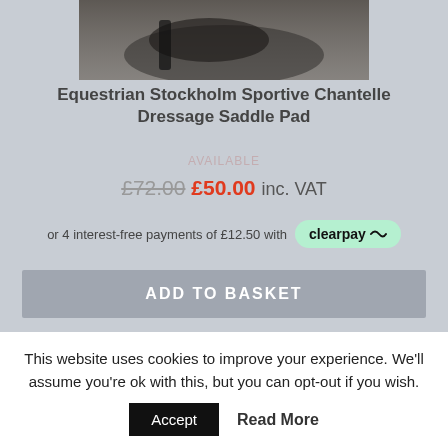[Figure (photo): Top portion of a dressage saddle pad product photo on a horse, dark background, cropped view]
Equestrian Stockholm Sportive Chantelle Dressage Saddle Pad
£72.00 £50.00 inc. VAT
or 4 interest-free payments of £12.50 with clearpay
ADD TO BASKET
[Figure (photo): Second product photo showing a dark brown leather saddle on a horse, outdoor background with green foliage]
SALE!
This website uses cookies to improve your experience. We'll assume you're ok with this, but you can opt-out if you wish.
Accept   Read More